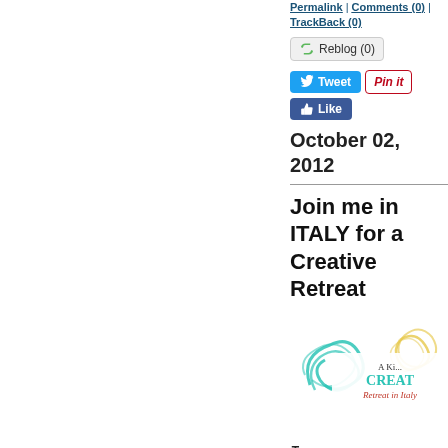Permalink | Comments (0) | TrackBack (0)
[Figure (screenshot): Social media buttons: Reblog (0), Tweet, Pin it, Like]
October 02, 2012
Join me in ITALY for a Creative Retreat
[Figure (logo): A Ki... Creative Retreat in Italy logo with decorative floral design in teal and yellow]
I am finally